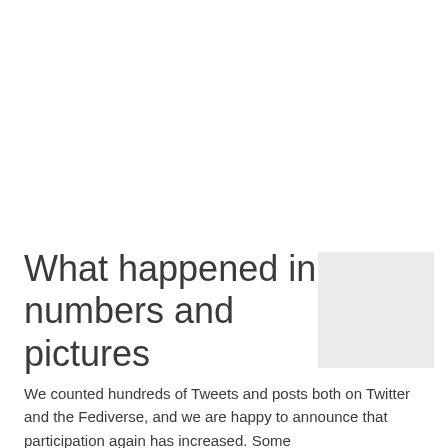What happened in numbers and pictures
[Figure (photo): Light grey placeholder image box in the right column next to the title]
We counted hundreds of Tweets and posts both on Twitter and the Fediverse, and we are happy to announce that participation again has increased. Some